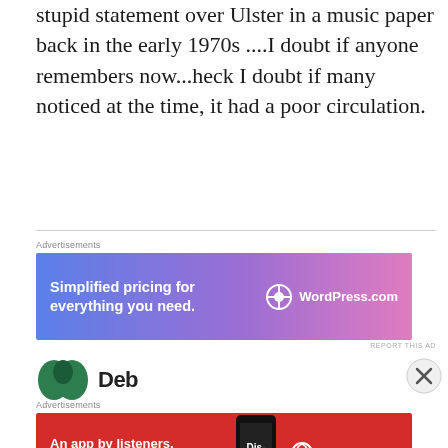stupid statement over Ulster in a music paper back in the early 1970s ....I doubt if anyone remembers now...heck I doubt if many noticed at the time, it had a poor circulation.
[Figure (infographic): WordPress.com advertisement banner: 'Simplified pricing for everything you need.' with WordPress.com logo on a blue-to-pink gradient background]
[Figure (infographic): Pocket Casts advertisement banner: 'An app by listeners, for listeners.' with Pocket Casts logo on a red background with phone image]
REPORT THIS AD
Advertisements
Advertisements